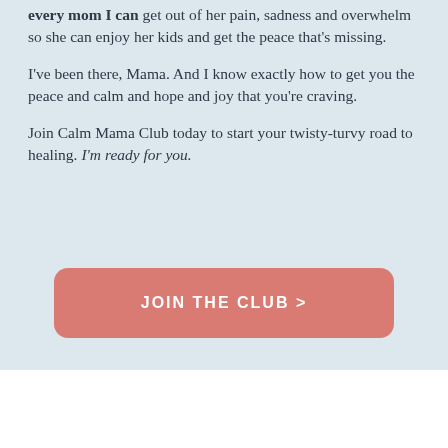every mom I can get out of her pain, sadness and overwhelm so she can enjoy her kids and get the peace that's missing.

I've been there, Mama. And I know exactly how to get you the peace and calm and hope and joy that you're craving.

Join Calm Mama Club today to start your twisty-turvy road to healing. I'm ready for you.
JOIN THE CLUB >